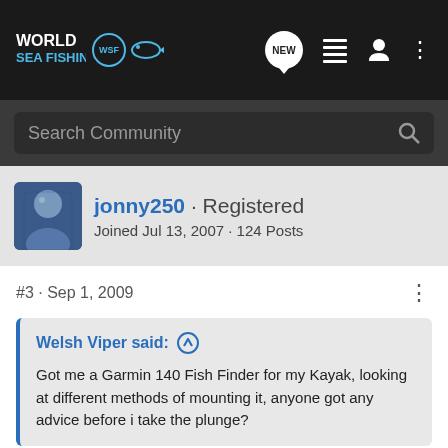[Figure (logo): World Sea Fishing WSF logo with fish icon on dark navbar]
Search Community
jonny250 · Registered
Joined Jul 13, 2007 · 124 Posts
#3 · Sep 1, 2009
Welsh Viper said: ↑
Got me a Garmin 140 Fish Finder for my Kayak, looking at different methods of mounting it, anyone got any advice before i take the plunge?
sikaflex works well. clean the yak with white spirit first then a light abrasion with wetndry or light sand paper to make a good key.
make sure you get it far enough aft that it wont be too affected